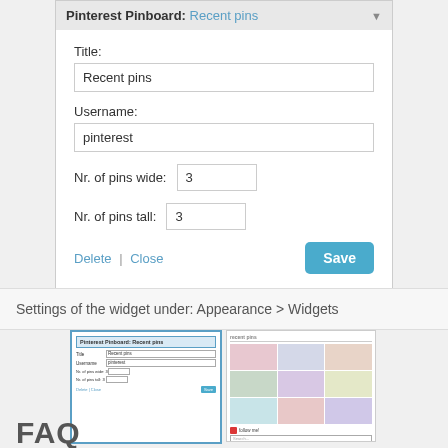Pinterest Pinboard: Recent pins
Title: Recent pins
Username: pinterest
Nr. of pins wide: 3
Nr. of pins tall: 3
Delete | Close   Save
Settings of the widget under: Appearance > Widgets
[Figure (screenshot): Thumbnail screenshot of the Pinterest Pinboard widget settings panel]
[Figure (screenshot): Thumbnail screenshot showing the Pinterest Pinboard widget displayed on a blog sidebar with a grid of pin images]
FAQ